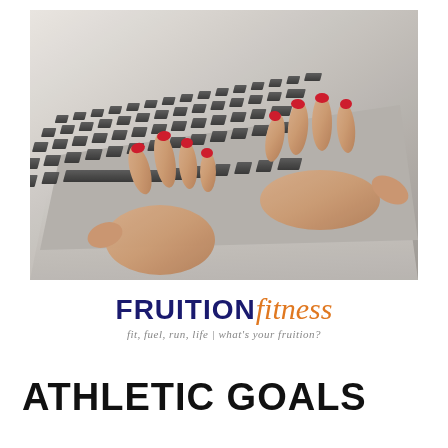[Figure (photo): Close-up photo of two hands with red painted fingernails typing on a dark laptop keyboard, shot at an angle against a white/light background.]
FRUITION fitness
fit, fuel, run, life | what's your fruition?
ATHLETIC GOALS